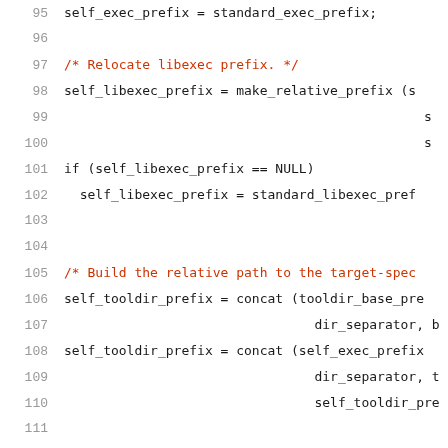[Figure (screenshot): Source code listing in monospace font showing C code lines 95-116 with line numbers, comments in red/orange, code in black on white background.]